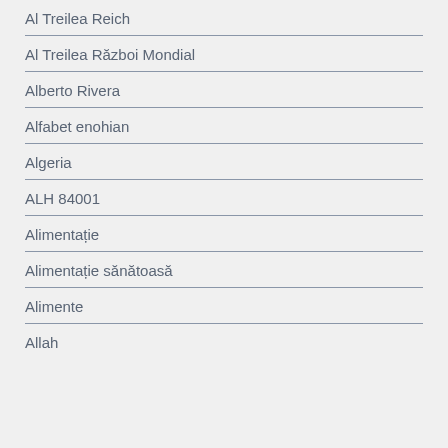Al Treilea Reich
Al Treilea Război Mondial
Alberto Rivera
Alfabet enohian
Algeria
ALH 84001
Alimentație
Alimentație sănătoasă
Alimente
Allah